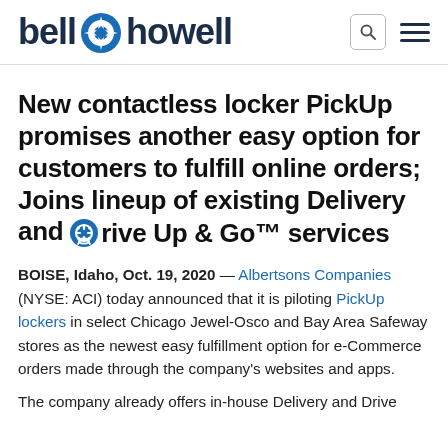bell howell [search] [menu]
New contactless locker PickUp promises another easy option for customers to fulfill online orders; Joins lineup of existing Delivery and Drive Up & Go™ services
BOISE, Idaho, Oct. 19, 2020 — Albertsons Companies (NYSE: ACI) today announced that it is piloting PickUp lockers in select Chicago Jewel-Osco and Bay Area Safeway stores as the newest easy fulfillment option for e-Commerce orders made through the company's websites and apps.
The company already offers in-house Delivery and Drive